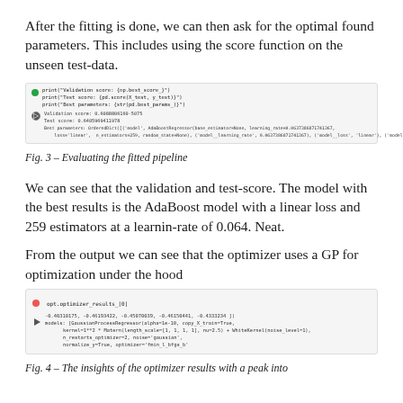After the fitting is done, we can then ask for the optimal found parameters. This includes using the score function on the unseen test-data.
[Figure (screenshot): Code screenshot showing print statements for validation score, test score, and best parameters, with output showing AdaBoost parameters]
Fig. 3 – Evaluating the fitted pipeline
We can see that the validation and test-score. The model with the best results is the AdaBoost model with a linear loss and 259 estimators at a learnin-rate of 0.064. Neat.
From the output we can see that the optimizer uses a GP for optimization under the hood
[Figure (screenshot): Code screenshot showing opt.optimizer_results_[0] output with GaussianProcessRegressor details including kernel and n_restarts_optimizer parameters]
Fig. 4 – The insights of the optimizer results with a peak into